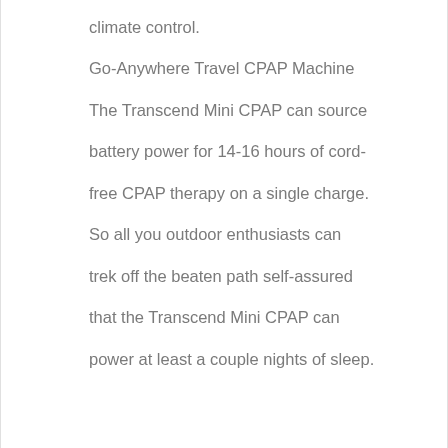climate control.
Go-Anywhere Travel CPAP Machine
The Transcend Mini CPAP can source battery power for 14-16 hours of cord-free CPAP therapy on a single charge. So all you outdoor enthusiasts can trek off the beaten path self-assured that the Transcend Mini CPAP can power at least a couple nights of sleep.